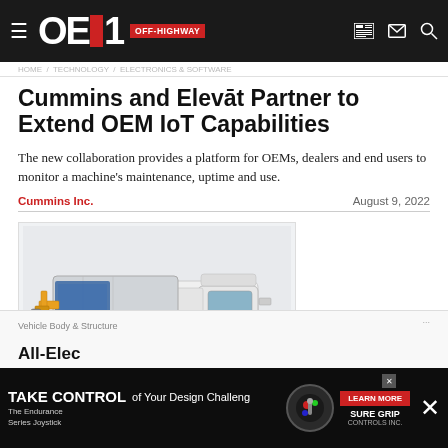OEM OFF-HIGHWAY
Cummins and Elevāt Partner to Extend OEM IoT Capabilities
The new collaboration provides a platform for OEMs, dealers and end users to monitor a machine's maintenance, uptime and use.
Cummins Inc.   August 9, 2022
[Figure (photo): White electric refuse collection truck with side-loading arm mechanism, shown from front-left angle]
Vehicle Body & Structure
All-Elec...
TAKE CONTROL of Your Design Challenge — The Endurance Series Joystick — LEARN MORE — SURE GRIP CONTROLS INC.